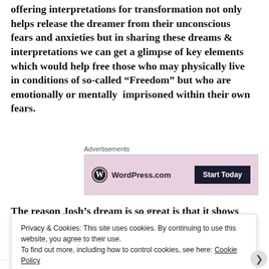offering interpretations for transformation not only helps release the dreamer from their unconscious fears and anxieties but in sharing these dreams & interpretations we can get a glimpse of key elements which would help free those who may physically live in conditions of so-called “Freedom” but who are emotionally or mentally  imprisoned within their own fears.
[Figure (screenshot): WordPress.com advertisement banner with pink background, WordPress.com logo on left and 'Start Today' dark button on right, labeled 'Advertisements' above]
The reason Josh’s dream is so great is that it shows where he and his partner want to go in life is having a safe and
Privacy & Cookies: This site uses cookies. By continuing to use this website, you agree to their use.
To find out more, including how to control cookies, see here: Cookie Policy
Close and accept